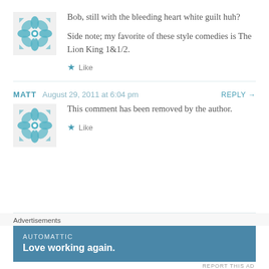Bob, still with the bleeding heart white guilt huh?

Side note; my favorite of these style comedies is The Lion King 1&1/2.
Like
MATT  August 29, 2011 at 6:04 pm  REPLY →
This comment has been removed by the author.
Like
Advertisements
AUTOMATTIC
Love working again.
REPORT THIS AD